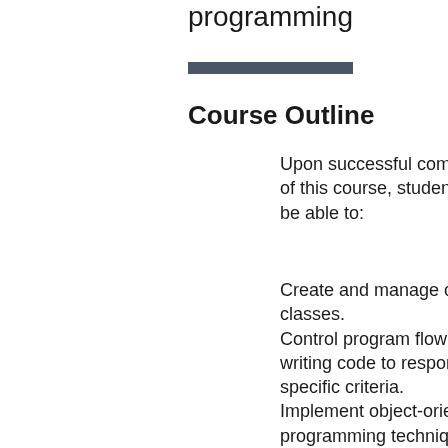programming
[Figure (other): Dark horizontal rule bar]
Course Outline
Upon successful completion of this course, students will be able to:
Create and manage custom classes.
Control program flow by writing code to respond to specific criteria.
Implement object-oriented programming techniques to create reusable and reliable programs.
Work with Java utility class libraries.
Use the capabilities of the Java I/O package to read and write data to external files or